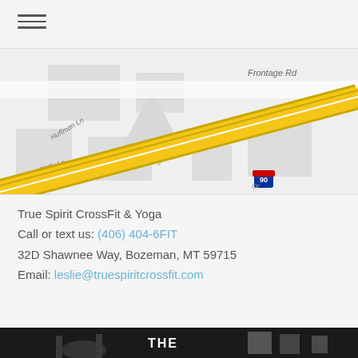[Figure (other): Hamburger menu icon with three horizontal lines]
[Figure (map): Street map showing intersection near 32D Shawnee Way, Bozeman MT 59715. Visible streets include Frontage Rd, Huffman Ln, Sunset Blvd, Virginia Dr, and Interstate 90 (route 90 shield visible). Yellow diagonal road (I-90) runs through center.]
True Spirit CrossFit & Yoga
Call or text us: (406) 404-6FIT
32D Shawnee Way, Bozeman, MT 59715
Email: leslie@truespiritcrossfit.com
[Figure (photo): Partial bottom photo strip showing what appears to be gym or CrossFit interior, dark tones, partial text visible reading 'THE']